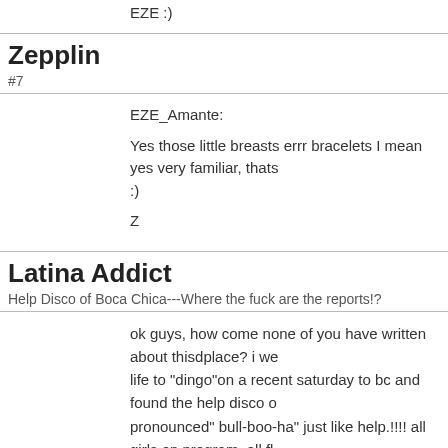EZE :)
Zepplin
#7
EZE_Amante:

Yes those little breasts errr bracelets I mean yes very familiar, thats
:)

Z
Latina Addict
Help Disco of Boca Chica---Where the fuck are the reports!?
ok guys, how come none of you have written about thisdplace? i we life to "dingo"on a recent saturday to bc and found the help disco o pronounced" bull-boo-ha" just like help.!!!! all girls on program, all fl all mulata and darker.
negotiated for 60 us(yep too much, shit...) for tln with a 22 (id chec hot spinner. loved to suck! blew me in taxi, and even sucked my toe

name...y-----, name left out to protect her from her gringo boyfriend